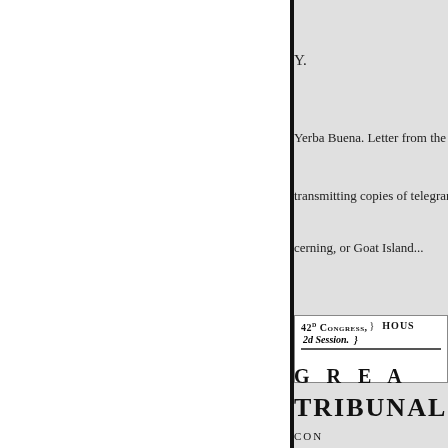Y.
Yerba Buena. Letter from the Se
transmitting copies of telegrams
cerning, or Goat Island...
| 42D Congress, 2d Session. | HOU |
| --- | --- |
G R E A
TRIBUNAL
CON